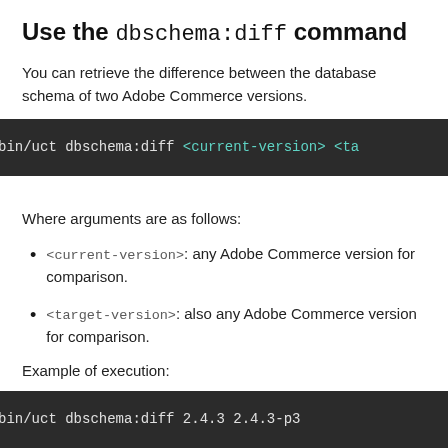Use the dbschema:diff command
You can retrieve the difference between the database schema of two Adobe Commerce versions.
[Figure (screenshot): Dark code block showing: bin/uct dbschema:diff <current-version> <ta...]
Where arguments are as follows:
<current-version>: any Adobe Commerce version for comparison.
<target-version>: also any Adobe Commerce version for comparison.
Example of execution:
[Figure (screenshot): Dark code block showing: bin/uct dbschema:diff 2.4.3 2.4.3-p3]